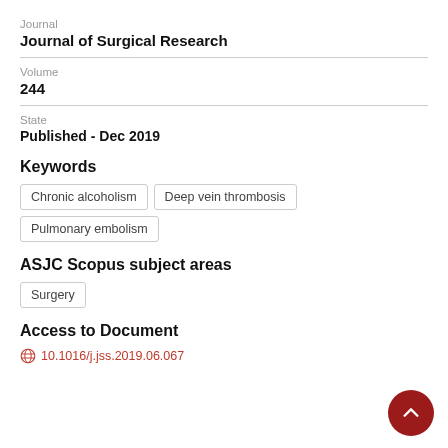Journal
Journal of Surgical Research
Volume
244
State
Published - Dec 2019
Keywords
Chronic alcoholism
Deep vein thrombosis
Pulmonary embolism
ASJC Scopus subject areas
Surgery
Access to Document
10.1016/j.jss.2019.06.067